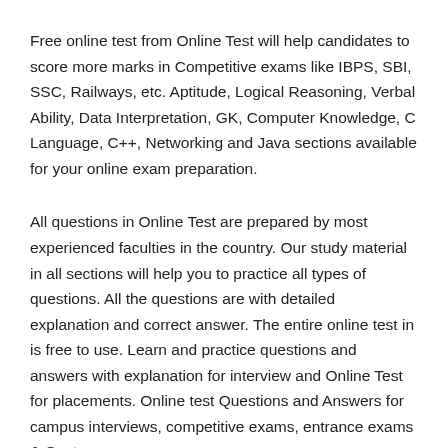Free online test from Online Test will help candidates to score more marks in Competitive exams like IBPS, SBI, SSC, Railways, etc. Aptitude, Logical Reasoning, Verbal Ability, Data Interpretation, GK, Computer Knowledge, C Language, C++, Networking and Java sections available for your online exam preparation.
All questions in Online Test are prepared by most experienced faculties in the country. Our study material in all sections will help you to practice all types of questions. All the questions are with detailed explanation and correct answer. The entire online test in is free to use. Learn and practice questions and answers with explanation for interview and Online Test for placements. Online test Questions and Answers for campus interviews, competitive exams, entrance exams & Govt exams.